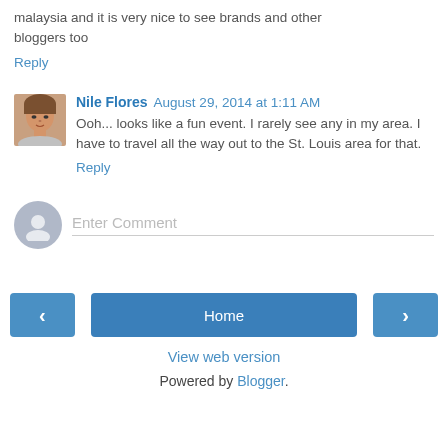malaysia and it is very nice to see brands and other bloggers too
Reply
Nile Flores  August 29, 2014 at 1:11 AM
Ooh... looks like a fun event. I rarely see any in my area. I have to travel all the way out to the St. Louis area for that.
Reply
Enter Comment
Home
View web version
Powered by Blogger.